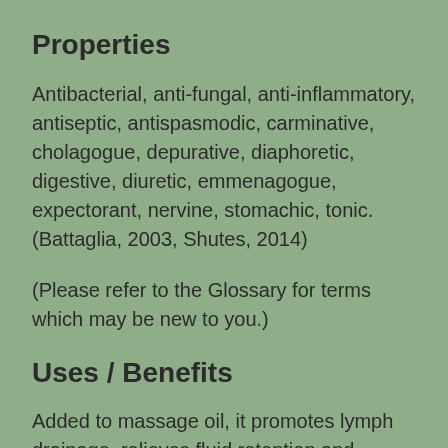Properties
Antibacterial, anti-fungal, anti-inflammatory, antiseptic, antispasmodic, carminative, cholagogue, depurative, diaphoretic, digestive, diuretic, emmenagogue, expectorant, nervine, stomachic, tonic. (Battaglia, 2003, Shutes, 2014)
(Please refer to the Glossary for terms which may be new to you.)
Uses / Benefits
Added to massage oil, it promotes lymph drainage, relieves fluid retention and arthritis symptoms, reduces cellulite. It is a nerve tonic and is